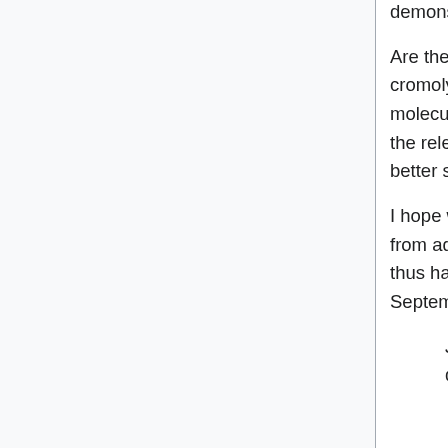demonstrate.
Are there homeopathic provings that demonstrate that large doses of cromolyns cause basophil and mast cell degranulation? If not, the molecular explanation that they desensitize the granules, and in turn block the release of histamine and other inflammatory messengers, is a much better shave with Occam's Razor.
I hope we do not have as lengthy a debate on the Tooth Fairy, especially from advocates that are America's leading spokesman for tooth fairies and thus have a financial conflict of interest. Howard C. Berkowitz 01:57, 14 September 2010 (UTC)
Just to throw yet another bit of reality, the use of amphetamine-like drugs,